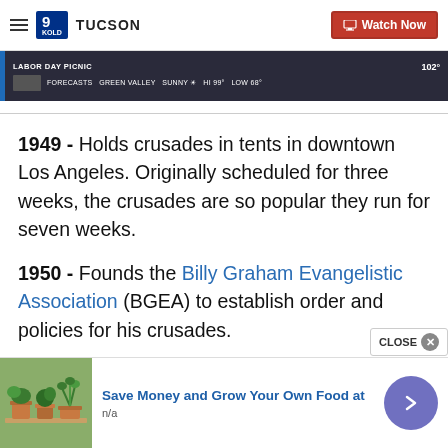TUCSON — Watch Now (navigation bar with logo)
[Figure (screenshot): Video thumbnail strip showing LABOR DAY PICNIC, 102°, FORECASTS, GREEN VALLEY, SUNNY, HI 99° LOW 68°]
1949 - Holds crusades in tents in downtown Los Angeles. Originally scheduled for three weeks, the crusades are so popular they run for seven weeks.
1950 - Founds the Billy Graham Evangelistic Association (BGEA) to establish order and policies for his crusades.
[Figure (photo): Advertisement: Save Money and Grow Your Own Food at — showing potted plants on a shelf. n/a]
CLOSE ✕